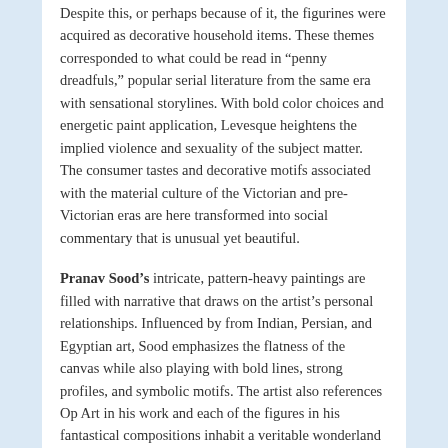Despite this, or perhaps because of it, the figurines were acquired as decorative household items. These themes corresponded to what could be read in “penny dreadfuls,” popular serial literature from the same era with sensational storylines. With bold color choices and energetic paint application, Levesque heightens the implied violence and sexuality of the subject matter. The consumer tastes and decorative motifs associated with the material culture of the Victorian and pre-Victorian eras are here transformed into social commentary that is unusual yet beautiful.
Pranav Sood’s intricate, pattern-heavy paintings are filled with narrative that draws on the artist’s personal relationships. Influenced by from Indian, Persian, and Egyptian art, Sood emphasizes the flatness of the canvas while also playing with bold lines, strong profiles, and symbolic motifs. The artist also references Op Art in his work and each of the figures in his fantastical compositions inhabit a veritable wonderland of